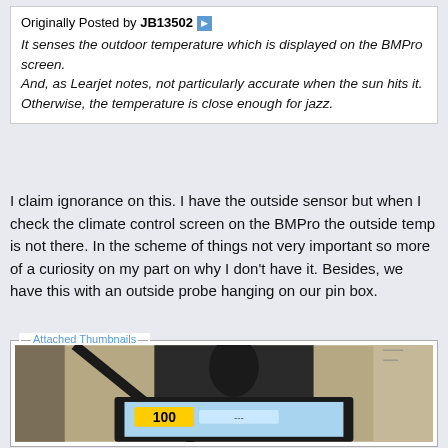Originally Posted by JB13502 ▶
It senses the outdoor temperature which is displayed on the BMPro screen.
And, as Learjet notes, not particularly accurate when the sun hits it. Otherwise, the temperature is close enough for jazz.
I claim ignorance on this. I have the outside sensor but when I check the climate control screen on the BMPro the outside temp is not there. In the scheme of things not very important so more of a curiosity on my part on why I don't have it. Besides, we have this with an outside probe hanging on our pin box.
Attached Thumbnails
[Figure (photo): A weather station or outdoor temperature sensor device with a digital display showing numbers, mounted on what appears to be a wooden or fabric surface. The device has a dark frame and a screen visible at the bottom.]